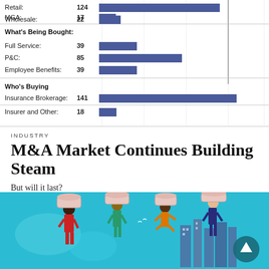[Figure (bar-chart): Insurance M&A Activity by Category]
INDUSTRY
M&A Market Continues Building Steam
But will it last?
[Figure (illustration): Colorful illustration on teal background showing diverse figures holding up large circular column capitals above a cityscape]